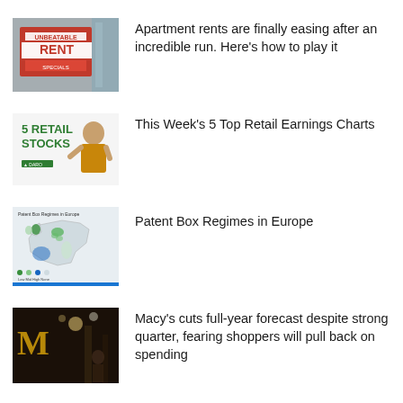[Figure (photo): Apartment rent sign in red and white on a building exterior]
Apartment rents are finally easing after an incredible run. Here’s how to play it
[Figure (photo): 5 Retail Stocks promotional image with a man pointing, green text on white background, DARO branding]
This Week’s 5 Top Retail Earnings Charts
[Figure (map): Patent Box Regimes in Europe - map of Europe with countries highlighted in various shades of green and blue]
Patent Box Regimes in Europe
[Figure (photo): Macy's store exterior with large golden letters]
Macy’s cuts full-year forecast despite strong quarter, fearing shoppers will pull back on spending
[Figure (photo): Partial image of people - stocks making the biggest moves article thumbnail]
Stocks making the biggest moves in the